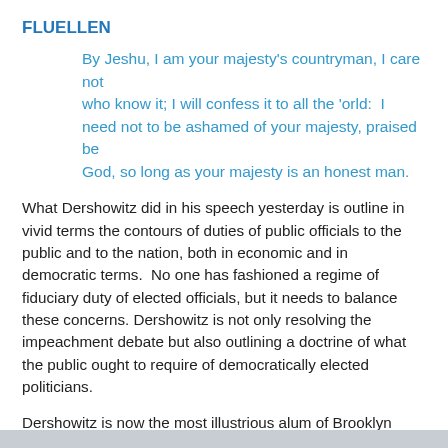FLUELLEN
By Jeshu, I am your majesty's countryman, I care not
who know it; I will confess it to all the 'orld:  I need not to be ashamed of your majesty, praised be
God, so long as your majesty is an honest man.
What Dershowitz did in his speech yesterday is outline in vivid terms the contours of duties of public officials to the public and to the nation, both in economic and in democratic terms.  No one has fashioned a regime of fiduciary duty of elected officials, but it needs to balance these concerns. Dershowitz is not only resolving the impeachment debate but also outlining a doctrine of what the public ought to require of democratically elected politicians.
Dershowitz is now the most illustrious alum of Brooklyn College. I need not be ashamed, praised be G-d.